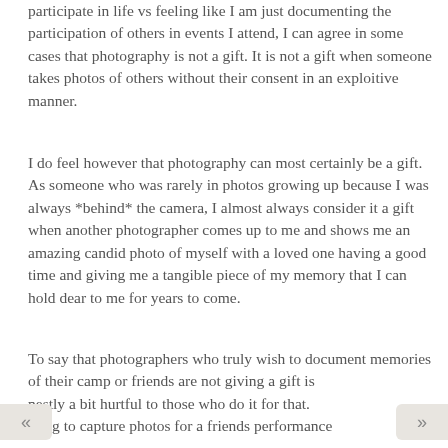participate in life vs feeling like I am just documenting the participation of others in events I attend, I can agree in some cases that photography is not a gift. It is not a gift when someone takes photos of others without their consent in an exploitive manner.
I do feel however that photography can most certainly be a gift. As someone who was rarely in photos growing up because I was always *behind* the camera, I almost always consider it a gift when another photographer comes up to me and shows me an amazing candid photo of myself with a loved one having a good time and giving me a tangible piece of my memory that I can hold dear to me for years to come.
To say that photographers who truly wish to document memories of their camp or friends are not giving a gift is honestly a bit hurtful to those who do it for that. Offering to capture photos for a friends performance